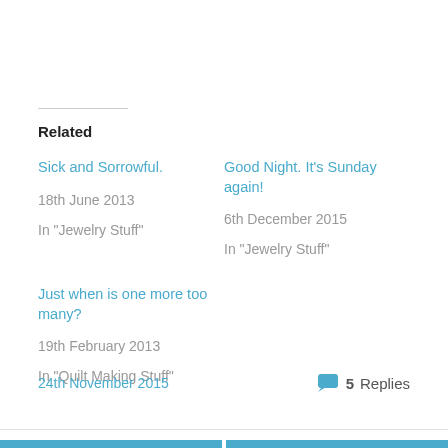Related
Sick and Sorrowful.
18th June 2013
In "Jewelry Stuff"
Good Night. It's Sunday again!
6th December 2015
In "Jewelry Stuff"
Just when is one more too many?
19th February 2013
In "Quilt Making Stuff"
24th November 2015   5 Replies